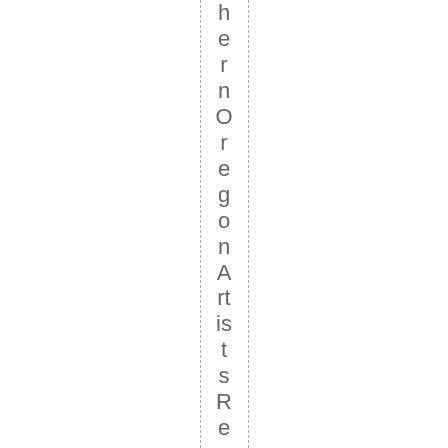hern Oregon Artists Resource's p